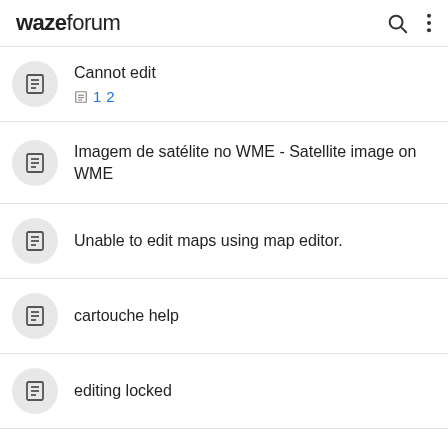waze forum
Cannot edit
Imagem de satélite no WME - Satellite image on WME
Unable to edit maps using map editor.
cartouche help
editing locked